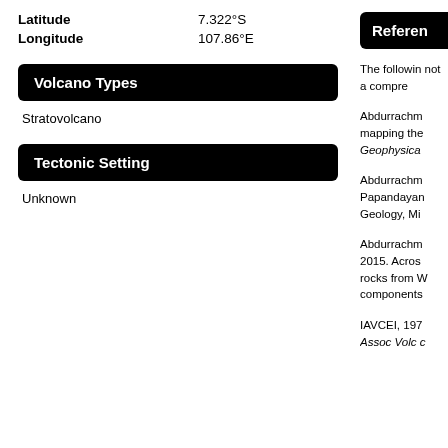Latitude   7.322°S
Longitude   107.86°E
Volcano Types
Stratovolcano
Tectonic Setting
Unknown
Referen
The followin not a compre
Abdurrachm mapping the Geophysica
Abdurrachm Papandayan Geology, Mi
Abdurrachm 2015. Acros rocks from W components
IAVCEI, 197 Assoc Volc c